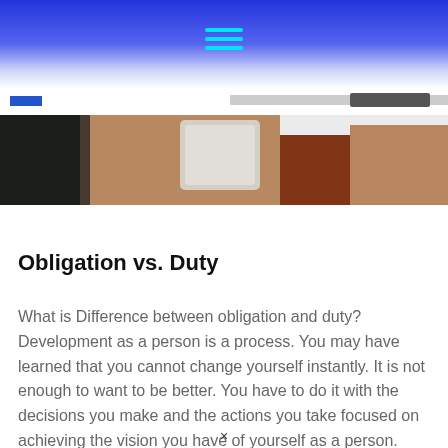[Figure (screenshot): Website header with blue gradient background and cyan hamburger menu icon]
[Figure (photo): Person holding a white cup with hands visible, green background blur]
Obligation vs. Duty
What is Difference between obligation and duty? Development as a person is a process. You may have learned that you cannot change yourself instantly. It is not enough to want to be better. You have to do it with the decisions you make and the actions you take focused on achieving the vision you have of yourself as a person.
×